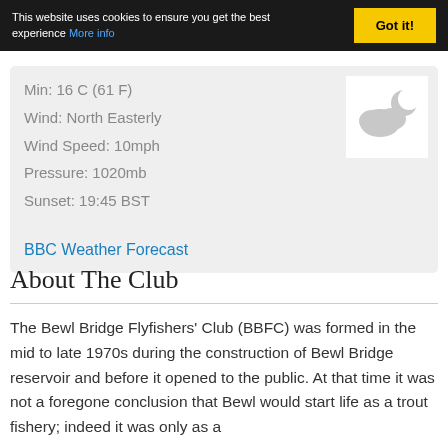This website uses cookies to ensure you get the best experience More info  Got it!
Min: 16 C (61 F)
Wind: North Easterly
Wind Speed: 10mph
Pressure: 1020mb
Sunset: 19:45 BST
BBC Weather Forecast
About The Club
The Bewl Bridge Flyfishers' Club (BBFC) was formed in the mid to late 1970s during the construction of Bewl Bridge reservoir and before it opened to the public. At that time it was not a foregone conclusion that Bewl would start life as a trout fishery; indeed it was only as a